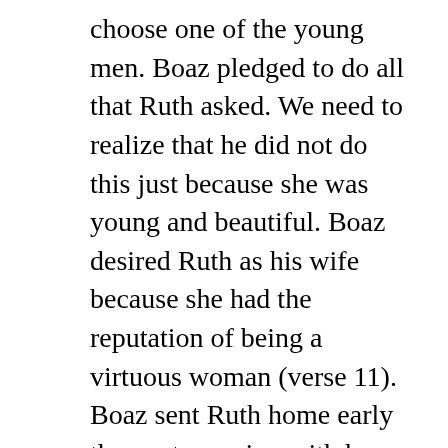choose one of the young men. Boaz pledged to do all that Ruth asked. We need to realize that he did not do this just because she was young and beautiful. Boaz desired Ruth as his wife because she had the reputation of being a virtuous woman (verse 11). Boaz sent Ruth home early the next morning with her veil full of grain.
Birth of Obed
Study chapter 4 for yourself. It gives the details about how Boaz made it possible for Ruth to marry him. There was a kinsman nearer to Ruth than Boaz. Boaz followed the laws of